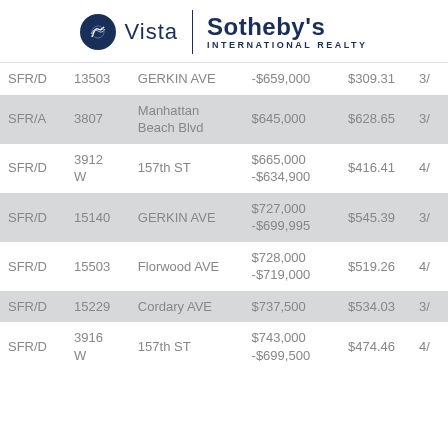[Figure (logo): Vista Sotheby's International Realty logo with circular emblem]
| Type | Num | Address | Price | $/SF | Bed |
| --- | --- | --- | --- | --- | --- |
| SFR/D | 13503 | GERKIN AVE | -$659,000 | $309.31 | 3/ |
| SFR/A | 3807 | Manhattan Beach Blvd | $645,000 | $628.65 | 3/ |
| SFR/D | 3912 W | 157th ST | $665,000 -$634,900 | $416.41 | 4/ |
| SFR/D | 15140 | GERKIN AVE | $727,000 -$699,995 | $545.39 | 3/ |
| SFR/D | 15503 | Florwood AVE | $728,000 -$719,000 | $519.26 | 4/ |
| SFR/D | 15229 | Cordary AVE | $737,500 | $534.03 | 3/ |
| SFR/D | 3916 W | 157th ST | $743,000 -$699,500 | $474.46 | 4/ |